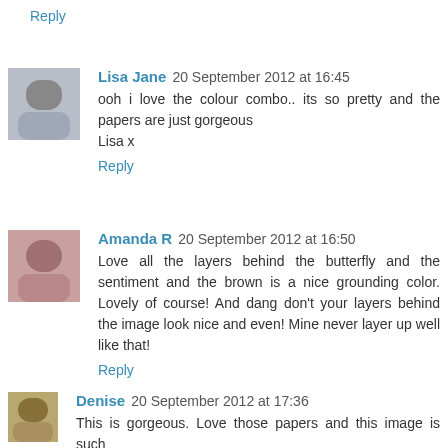Reply
Lisa Jane 20 September 2012 at 16:45
ooh i love the colour combo.. its so pretty and the papers are just gorgeous
Lisa x
Reply
Amanda R 20 September 2012 at 16:50
Love all the layers behind the butterfly and the sentiment and the brown is a nice grounding color. Lovely of course! And dang don't your layers behind the image look nice and even! Mine never layer up well like that!
Reply
Denise 20 September 2012 at 17:36
This is gorgeous. Love those papers and this image is such